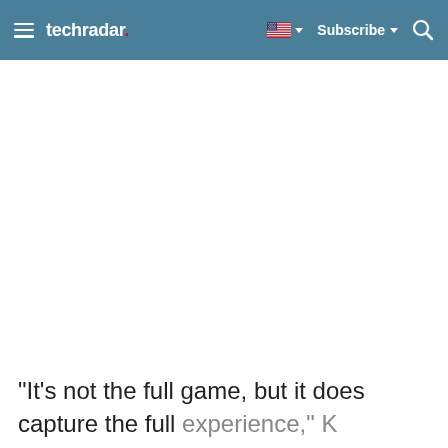techradar — Subscribe
"It's not the full game, but it does capture the full experience," Kors said.